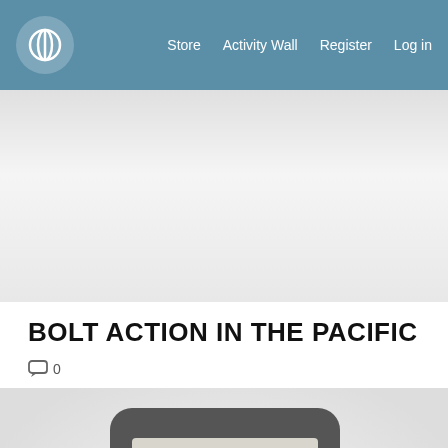Store  Activity Wall  Register  Log in
[Figure (illustration): Gray tablet/phone device icon with a dice and text lines illustration, on gradient background]
BOLT ACTION IN THE PACIFIC
0 comments